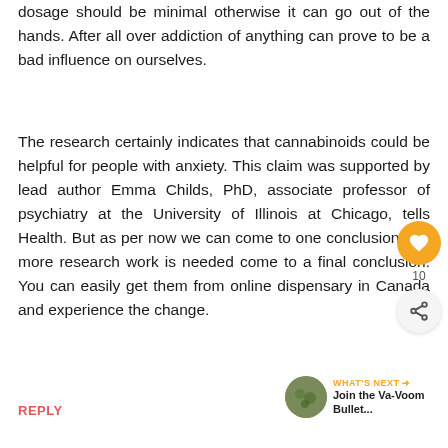dosage should be minimal otherwise it can go out of the hands. After all over addiction of anything can prove to be a bad influence on ourselves.
The research certainly indicates that cannabinoids could be helpful for people with anxiety. This claim was supported by lead author Emma Childs, PhD, associate professor of psychiatry at the University of Illinois at Chicago, tells Health. But as per now we can come to one conclusion that more research work is needed come to a final conclusion. You can easily get them from online dispensary in Canada and experience the change.
REPLY